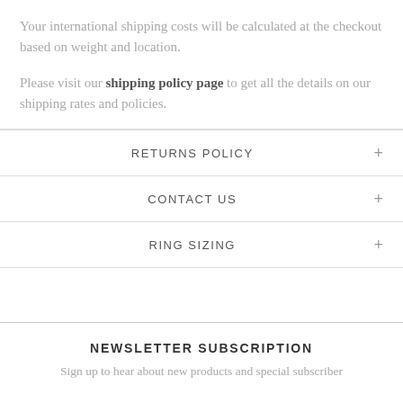Your international shipping costs will be calculated at the checkout based on weight and location.
Please visit our shipping policy page to get all the details on our shipping rates and policies.
RETURNS POLICY
CONTACT US
RING SIZING
NEWSLETTER SUBSCRIPTION
Sign up to hear about new products and special subscriber